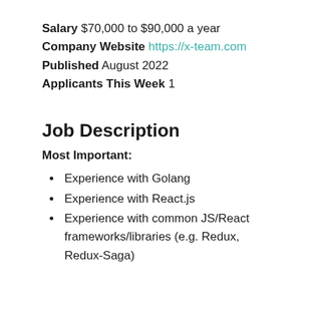Salary $70,000 to $90,000 a year
Company Website https://x-team.com
Published August 2022
Applicants This Week 1
Job Description
Most Important:
Experience with Golang
Experience with React.js
Experience with common JS/React frameworks/libraries (e.g. Redux, Redux-Saga)